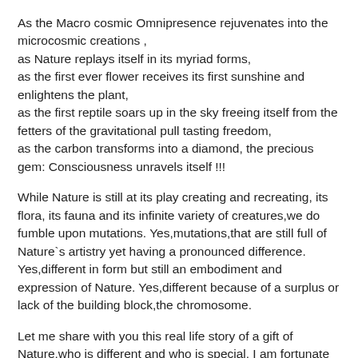As the Macro cosmic Omnipresence rejuvenates into the microcosmic creations , as Nature replays itself in its myriad forms, as the first ever flower receives its first sunshine and enlightens the plant, as the first reptile soars up in the sky freeing itself from the fetters of the gravitational pull tasting freedom, as the carbon transforms into a diamond, the precious gem: Consciousness unravels itself !!!
While Nature is still at its play creating and recreating, its flora, its fauna and its infinite variety of creatures,we do fumble upon mutations. Yes,mutations,that are still full of Nature`s artistry yet having a pronounced difference. Yes,different in form but still an embodiment and expression of Nature. Yes,different because of a surplus or lack of the building block,the chromosome.
Let me share with you this real life story of a gift of Nature,who is different and who is special. I am fortunate to have her as my dear cousin. I still remember the day she